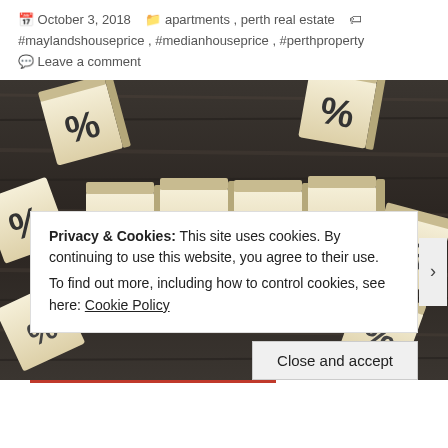October 3, 2018  apartments, perth real estate  #maylandshouseprice, #medianhouseprice, #perthproperty  Leave a comment
[Figure (photo): Wooden blocks spelling out FEES surrounded by percentage sign blocks on a dark wood background]
Privacy & Cookies: This site uses cookies. By continuing to use this website, you agree to their use.
To find out more, including how to control cookies, see here: Cookie Policy
Close and accept